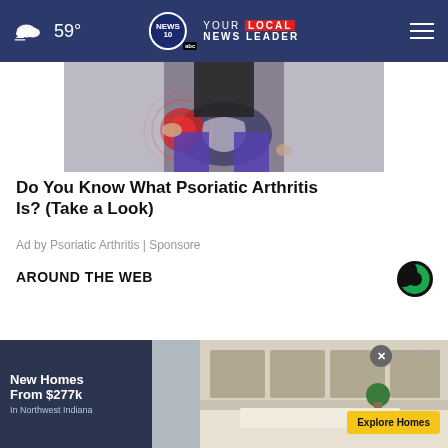59° NEWS 10 YOUR LOCAL NEWS LEADER
[Figure (photo): Medical illustration of a person holding their hip/pelvis area with a red pain indicator and x-ray overlay showing the pelvis.]
Do You Know What Psoriatic Arthritis Is? (Take a Look)
Ad by Psoriatic Arthritis | Sponsore
AROUND THE WEB
[Figure (logo): Taboola logo - circular C shape in black and green]
[Figure (photo): Advertisement for new homes - shows text 'New Homes From $277k In Northwest Indiana' with an Explore Homes button and kitchen image in background.]